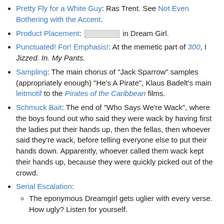Pretty Fly for a White Guy: Ras Trent. See Not Even Bothering with the Accent.
Product Placement: [redacted] in Dream Girl.
Punctuated! For! Emphasis!: At the memetic part of 300, I Jizzed. In. My Pants.
Sampling: The main chorus of "Jack Sparrow" samples (appropriately enough) "He's A Pirate", Klaus Badelt's main leitmotif to the Pirates of the Caribbean films.
Schmuck Bait: The end of "Who Says We're Wack", where the boys found out who said they were wack by having first the ladies put their hands up, then the fellas, then whoever said they're wack, before telling everyone else to put their hands down. Apparently, whoever called them wack kept their hands up, because they were quickly picked out of the crowd.
Serial Escalation:
The eponymous Dreamgirl gets uglier with every verse. How ugly? Listen for yourself.